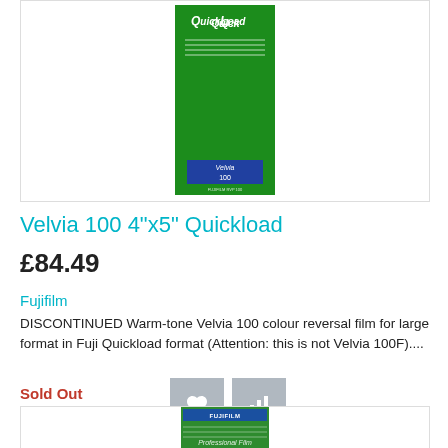[Figure (photo): Product image of Fujifilm Velvia 100 4x5 Quickload film box — green packaging with QuickLoad logo and Velvia 100 label, shown against white background with light grey border]
Velvia 100 4"x5" Quickload
£84.49
Fujifilm
DISCONTINUED Warm-tone Velvia 100 colour reversal film for large format in Fuji Quickload format (Attention: this is not Velvia 100F)....
Sold Out
[Figure (photo): Partial product image of another Fujifilm product — green packaging with blue Fujifilm header visible at bottom of page]